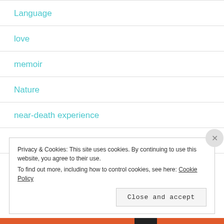Language
love
memoir
Nature
near-death experience
Parapsychology
Privacy & Cookies: This site uses cookies. By continuing to use this website, you agree to their use. To find out more, including how to control cookies, see here: Cookie Policy
Close and accept